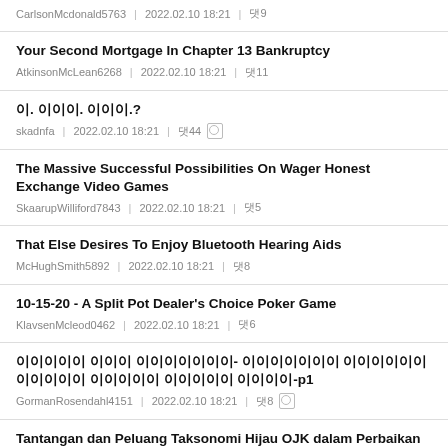CarlsonMcdonald5763 | 2022.02.10 18:21 | 댓9
Your Second Mortgage In Chapter 13 Bankruptcy
AtkinsonMcLean6268 | 2022.02.10 18:21 | 댓11
이. 이이이. 이이이.?
skadnfa | 2022.02.10 18:21 | 댓44
The Massive Successful Possibilities On Wager Honest Exchange Video Games
SkaarupWilliford7843 | 2022.02.10 18:21 | 댓5
That Else Desires To Enjoy Bluetooth Hearing Aids
McHughSmith5892 | 2022.02.10 18:21 | 댓8
10-15-20 - A Split Pot Dealer's Choice Poker Game
KlavsenMcleod0462 | 2022.02.10 18:21 | 댓6
이이이이이 이이이 이이이이이이이- 이이이이이이이 이이이이이이이이이이이 이이이이이 이이이이이 이이이이-p1
GormanRosendahl4151 | 2022.02.10 18:21 | 댓8
Tantangan dan Peluang Taksonomi Hijau OJK dalam Perbaikan Tata Kelola SDA di Indo
StillingMondez0176 | 2022.02.10 18:21 | 댓7